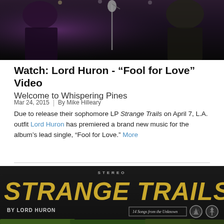[Figure (photo): Dark concert photo showing performers on stage with microphone stand, purple lighting on left side]
Watch: Lord Huron - “Fool for Love” Video
Welcome to Whispering Pines
Mar 24, 2015 | By Mike Hilleary
Due to release their sophomore LP Strange Trails on April 7, L.A. outfit Lord Huron has premiered a brand new music for the album’s lead single, “Fool for Love.” More
[Figure (photo): Album art for Strange Trails by Lord Huron - dark background with gold/yellow text reading STEREO, STRANGE TRAILS, BY LORD HURON, with subtitle 14 Songs from the Unknown and two circular badges]